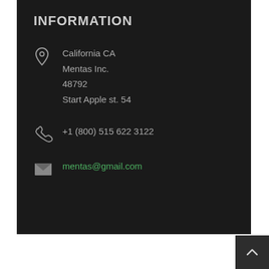INFORMATION
California CA
Mentas Inc.
48792
Start Apple st. 54
+1 (800) 515 622 3122
mentas@gmail.com